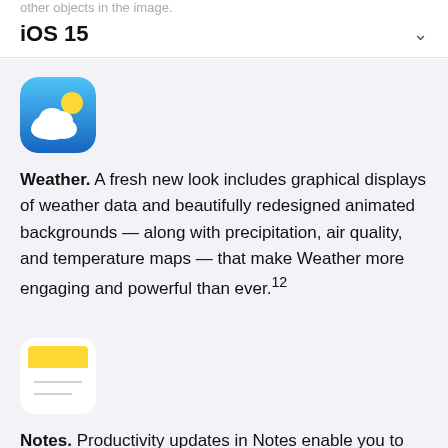other objects in the image.
iOS 15
[Figure (logo): Weather app icon: blue gradient background with white cloud and yellow sun]
Weather. A fresh new look includes graphical displays of weather data and beautifully redesigned animated backgrounds — along with precipitation, air quality, and temperature maps — that make Weather more engaging and powerful than ever.¹²
[Figure (logo): Notes app icon: yellow notepad with white lines]
Notes. Productivity updates in Notes enable you to organize with tags and collaborate in new ways with mentions and an Activity view.